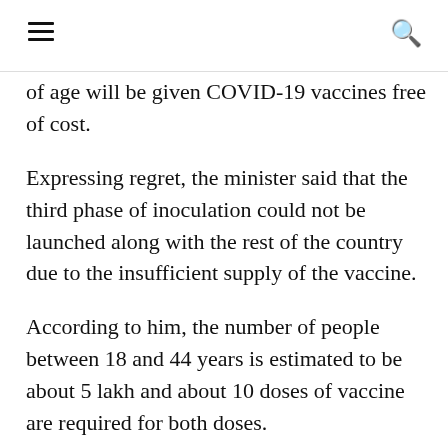☰  🔍
of age will be given COVID-19 vaccines free of cost.
Expressing regret, the minister said that the third phase of inoculation could not be launched along with the rest of the country due to the insufficient supply of the vaccine.
According to him, the number of people between 18 and 44 years is estimated to be about 5 lakh and about 10 doses of vaccine are required for both doses.
An order of the required doses has been already placed to the manufacturer, he said.